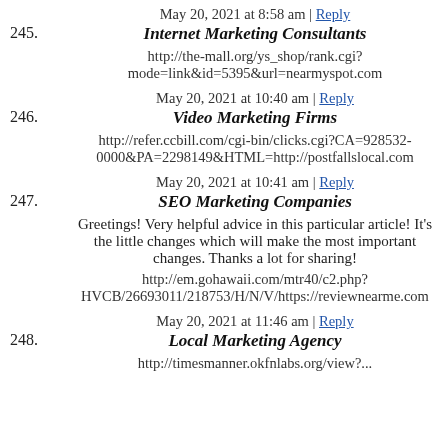245. May 20, 2021 at 8:58 am | Reply
Internet Marketing Consultants
http://the-mall.org/ys_shop/rank.cgi?mode=link&id=5395&url=nearmyspot.com
246. May 20, 2021 at 10:40 am | Reply
Video Marketing Firms
http://refer.ccbill.com/cgi-bin/clicks.cgi?CA=928532-0000&PA=2298149&HTML=http://postfallslocal.com
247. May 20, 2021 at 10:41 am | Reply
SEO Marketing Companies
Greetings! Very helpful advice in this particular article! It's the little changes which will make the most important changes. Thanks a lot for sharing!
http://em.gohawaii.com/mtr40/c2.php?HVCB/26693011/218753/H/N/V/https://reviewnearme.com
248. May 20, 2021 at 11:46 am | Reply
Local Marketing Agency
http://timesmanner.okfnlabs.org/view?...